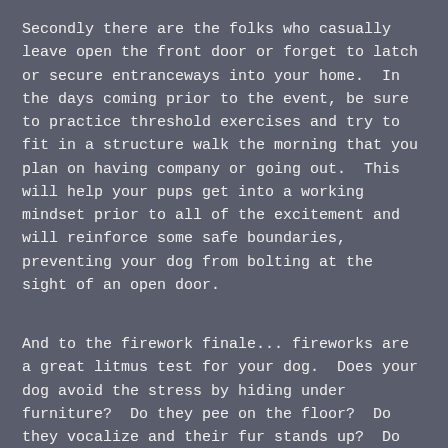Secondly there are the folks who casually leave open the front door or forget to latch or secure entranceways into your home.  In the days coming prior to the event, be sure to practice threshold exercises and try to fit in a structure walk the morning that you plan on having company or going out.  This will help your pups get into a working mindset prior to all of the excitement and will reinforce some safe boundaries, preventing your dog from bolting at the sight of an open door.
And to the firework finale... fireworks are a great litmus test for your dog.  Does your dog avoid the stress by hiding under furniture?  Do they pee on the floor?  Do they vocalize and their fur stands up?  Do they get destructive and chew on things they aren't supposed to?  Do they come over to you for reinforcement?  Do they give you a quick glance, decide things are okay and move on? Or do they just ignore the fireworks outright?  As you know,